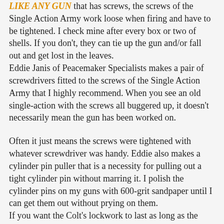LIKE ANY GUN that has screws, the screws of the Single Action Army work loose when firing and have to be tightened. I check mine after every box or two of shells. If you don't, they can tie up the gun and/or fall out and get lost in the leaves.
Eddie Janis of Peacemaker Specialists makes a pair of screwdrivers fitted to the screws of the Single Action Army that I highly recommend. When you see an old single-action with the screws all buggered up, it doesn't necessarily mean the gun has been worked on.
Often it just means the screws were tightened with whatever screwdriver was handy. Eddie also makes a cylinder pin puller that is a necessity for pulling out a tight cylinder pin without marring it. I polish the cylinder pins on my guns with 600-grit sandpaper until I can get them out without prying on them.
If you want the Colt's lockwork to last as long as the latest coil spring single-action designs, simply take